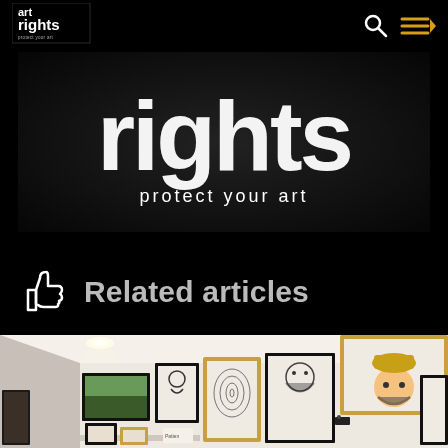[Figure (logo): Art Rights logo with 'art rights' text and 'protect your art' tagline]
[Figure (screenshot): Navigation bar with search icon and hamburger menu icon in gold/yellow]
[Figure (photo): Dark hero banner image showing 'rights protect your art' text in white on black background]
Related articles
[Figure (photo): Gallery wall photo showing multiple framed artworks including portraits, abstract art, and illustrations in black and wood frames on white wall]